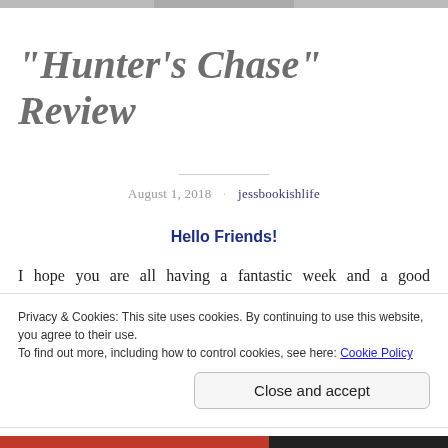“Hunter’s Chase” Review
August 1, 2018 · jessbookishlife
Hello Friends!
I hope you are all having a fantastic week and a good Wednesday. Since this morning I’m going to the gym –
Privacy & Cookies: This site uses cookies. By continuing to use this website, you agree to their use.
To find out more, including how to control cookies, see here: Cookie Policy
Close and accept